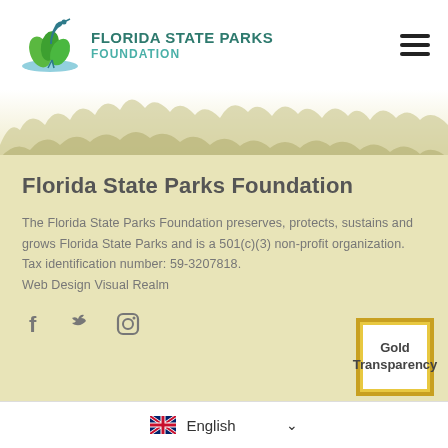[Figure (logo): Florida State Parks Foundation logo with heron bird and green leaves, teal and green colors]
[Figure (illustration): Landscape nature band showing trees/forest silhouette transitioning from white to olive/tan background]
Florida State Parks Foundation
The Florida State Parks Foundation preserves, protects, sustains and grows Florida State Parks and is a 501(c)(3) non-profit organization. Tax identification number: 59-3207818. Web Design Visual Realm
[Figure (other): Social media icons: Facebook (f), Twitter (bird), Instagram (camera)]
[Figure (other): Gold Transparency badge with gold border]
English